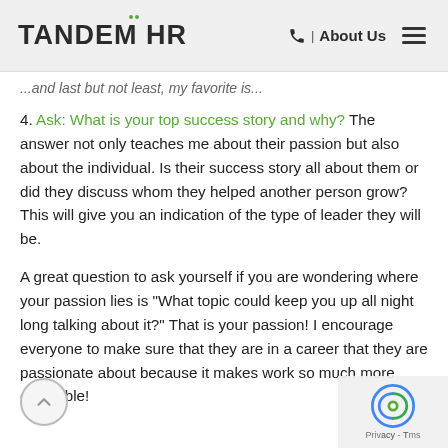TANDEM HR | About Us
...and last but not least, my favorite is...
4. Ask: What is your top success story and why? The answer not only teaches me about their passion but also about the individual. Is their success story all about them or did they discuss whom they helped another person grow? This will give you an indication of the type of leader they will be.
A great question to ask yourself if you are wondering where your passion lies is "What topic could keep you up all night long talking about it?" That is your passion! I encourage everyone to make sure that they are in a career that they are passionate about because it makes work so much more enjoyable!